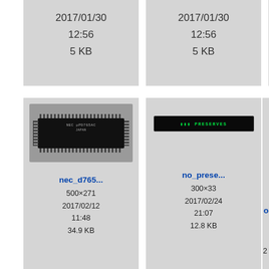[Figure (screenshot): File browser thumbnail grid showing image files with metadata. Top row (partial): two cells showing date 2017/01/30 12:56 5 KB each. Middle row: nec_d765... thumbnail (chip photo, 500×271, 2017/02/12 11:48, 34.9 KB) and no_prese... thumbnail (LED display image, 300×33, 2017/02/24 21:07, 12.8 KB). Bottom row: odiosum... (1300×975, 2017/01/09) and odiosum... (2360×3504, 2017/01/09).]